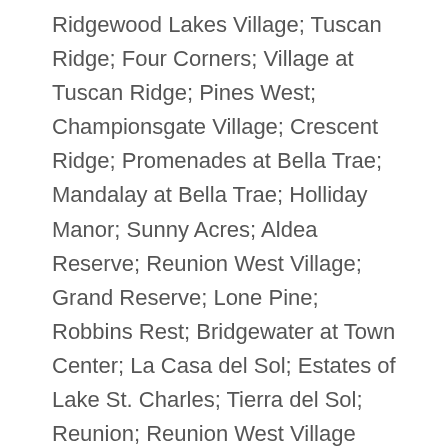Ridgewood Lakes Village; Tuscan Ridge; Four Corners; Village at Tuscan Ridge; Pines West; Championsgate Village; Crescent Ridge; Promenades at Bella Trae; Mandalay at Bella Trae; Holliday Manor; Sunny Acres; Aldea Reserve; Reunion West Village; Grand Reserve; Lone Pine; Robbins Rest; Bridgewater at Town Center; La Casa del Sol; Estates of Lake St. Charles; Tierra del Sol; Reunion; Reunion West Village North; Villas at Reunion Square; Florida Pines; Calabay Parc; Wildflower Ridge; Oakpoint; Aviana; Sand Lake; Lucky World Estates; Happy Trails; Heritage Crossing; Terraces at Reunion; Oakhaven; Solana; Winfield Heights; Bellatrae at Championsgate; Orlando Woods Estates; Way Estates; Heather Hill; Lake Wilson Preserve; Westridge; Deer Run Estates; Watersong; Ashebrook; Bridgewater Crossing; Ashley Manor; Windsor Estates; West Stonebridge; Highlands Reserve; Preserve at Town Center; Diamond Cove